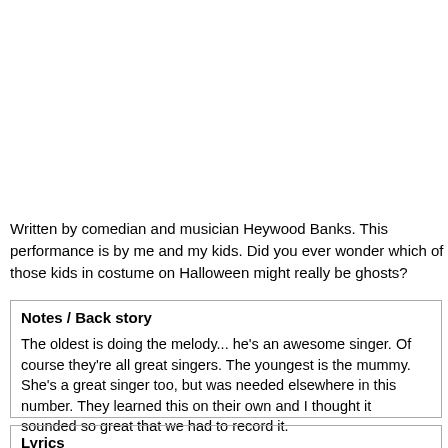Written by comedian and musician Heywood Banks. This performance is by me and my kids. Did you ever wonder which of those kids in costume on Halloween might really be ghosts?
Notes / Back story
The oldest is doing the melody... he's an awesome singer. Of course they're all great singers. The youngest is the mummy. She's a great singer too, but was needed elsewhere in this number. They learned this on their own and I thought it sounded so great that we had to record it.
Lyrics